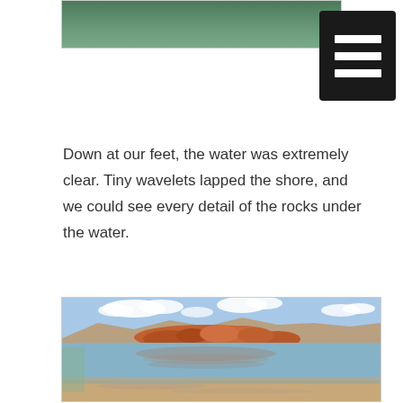[Figure (photo): Cropped top portion of a water/lake scene with green-tinted water surface visible]
[Figure (other): Black hamburger menu icon (three horizontal white lines on black background) in top-right corner]
Down at our feet, the water was extremely clear. Tiny wavelets lapped the shore, and we could see every detail of the rocks under the water.
[Figure (photo): Panoramic photo of a lake (Watson Lake, Arizona) with vivid red granite boulder formations in the middle, calm reflective water, sandy foreground shore, mountains in background, blue sky with white clouds]